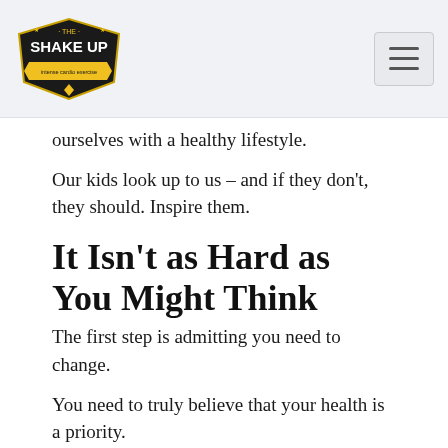THE SHAKE UP — intense cardio exercise (logo) and hamburger menu
ourselves with a healthy lifestyle.
Our kids look up to us – and if they don't, they should. Inspire them.
It Isn't as Hard as You Might Think
The first step is admitting you need to change.
You need to truly believe that your health is a priority.
You must take the time to think about what is most important to you, and understand how that will only be possible if you have your health. And to have your health,